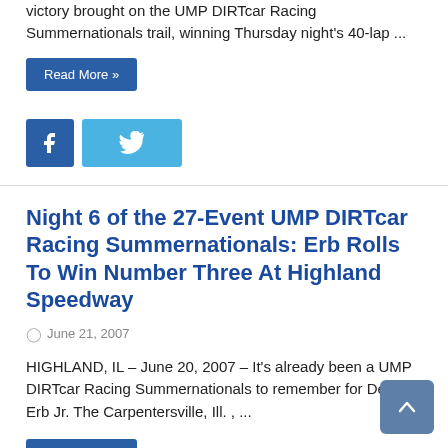victory brought on the UMP DIRTcar Racing Summernationals trail, winning Thursday night's 40-lap ...
Read More »
Night 6 of the 27-Event UMP DIRTcar Racing Summernationals: Erb Rolls To Win Number Three At Highland Speedway
June 21, 2007
HIGHLAND, IL – June 20, 2007 – It's already been a UMP DIRTcar Racing Summernationals to remember for Dennis Erb Jr. The Carpentersville, Ill. , ...
Read More »